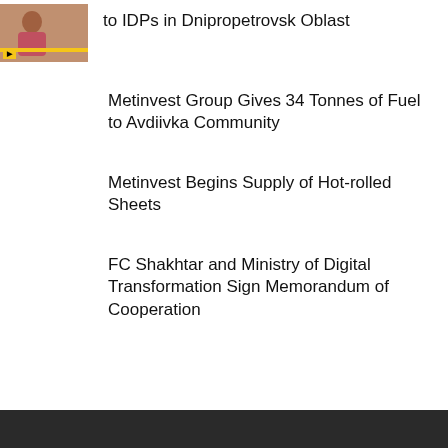[Figure (photo): Thumbnail photo of a person with yellow banner at bottom]
to IDPs in Dnipropetrovsk Oblast
Metinvest Group Gives 34 Tonnes of Fuel to Avdiivka Community
Metinvest Begins Supply of Hot-rolled Sheets
FC Shakhtar and Ministry of Digital Transformation Sign Memorandum of Cooperation